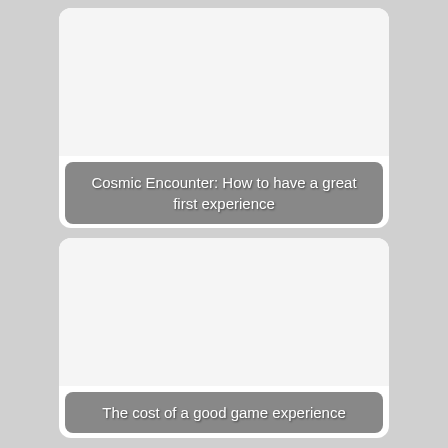[Figure (other): Card with image area and caption overlay: 'Cosmic Encounter: How to have a great first experience']
Cosmic Encounter: How to have a great first experience
[Figure (other): Card with image area and caption overlay: 'The cost of a good game experience']
The cost of a good game experience